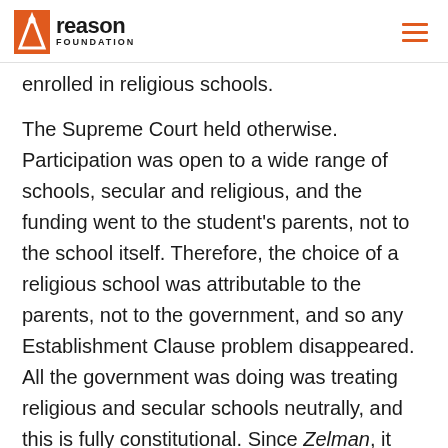Reason Foundation
enrolled in religious schools.
The Supreme Court held otherwise. Participation was open to a wide range of schools, secular and religious, and the funding went to the student's parents, not to the school itself. Therefore, the choice of a religious school was attributable to the parents, not to the government, and so any Establishment Clause problem disappeared. All the government was doing was treating religious and secular schools neutrally, and this is fully constitutional. Since Zelman, it has been clear that governments may choose to include religious schools in voucher programs; this is important